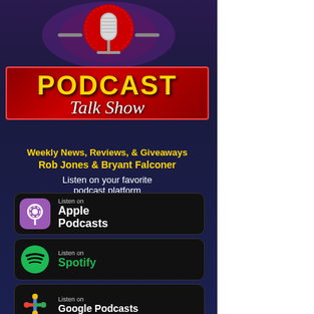[Figure (illustration): Podcast talk show promotional graphic with microphone, platform badges for Apple Podcasts, Spotify, and Google Podcasts on a dark purple/navy background]
PODCAST Talk Show
Weekly News, Reviews, & Giveaways
Rob Jones & Bryant Falconer
Listen on your favorite podcast platform
Listen on Apple Podcasts
Listen on Spotify
Listen on Google Podcasts